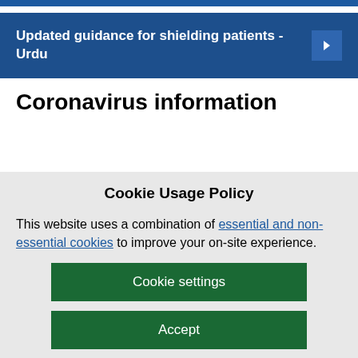Updated guidance for shielding patients - Urdu
Coronavirus information
Cookie Usage Policy
This website uses a combination of essential and non-essential cookies to improve your on-site experience.
Cookie settings
Accept